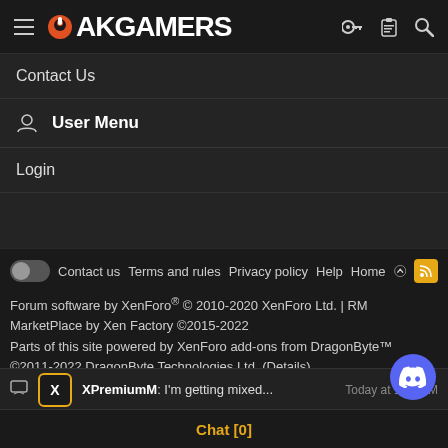PakGamers
Contact Us
User Menu
Login
Contact us   Terms and rules   Privacy policy   Help   Home
Forum software by XenForo® © 2010-2020 XenForo Ltd. | RM MarketPlace by Xen Factory ©2015-2022
Parts of this site powered by XenForo add-ons from DragonByte™ ©2011-2022 DragonByte Technologies Ltd. (Details)
| Style and add-ons by ThemeHouse
XenMedia 2 PRO © Jason Archer of 8WAYRUN
XPremiumM: I'm getting mixed...   Today at 1:40 AM
Chat [0]